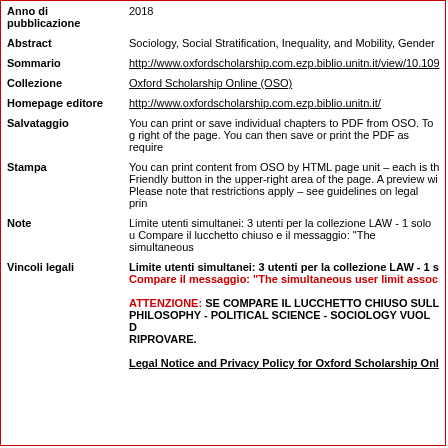| Anno di pubblicazione | 2018 |
| Abstract | Sociology, Social Stratification, Inequality, and Mobility, Gender… |
| Sommario | http://www.oxfordscholarship.com.ezp.biblio.unitn.it/view/10.109… |
| Collezione | Oxford Scholarship Online (OSO) |
| Homepage editore | http://www.oxfordscholarship.com.ezp.biblio.unitn.it/ |
| Salvataggio | You can print or save individual chapters to PDF from OSO. To g… right of the page. You can then save or print the PDF as require… |
| Stampa | You can print content from OSO by HTML page unit – each is th… Friendly button in the upper-right area of the page. A preview wi… Please note that restrictions apply – see guidelines on legal prin… |
| Note | Limite utenti simultanei: 3 utenti per la collezione LAW - 1 solo u… Compare il lucchetto chiuso e il messaggio: "The simultaneous… |
| Vincoli legali | Limite utenti simultanei: 3 utenti per la collezione LAW - 1 s… Compare il messaggio: "The simultaneous user limit assoc…

ATTENZIONE: SE COMPARE IL LUCCHETTO CHIUSO SULL… PHILOSOPHY - POLITICAL SCIENCE - SOCIOLOGY VUOL D… RIPROVARE.

Legal Notice and Privacy Policy for Oxford Scholarship Onl… |